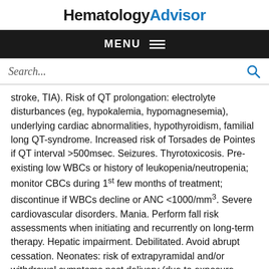HematologyAdvisor
MENU
Search...
stroke, TIA). Risk of QT prolongation: electrolyte disturbances (eg, hypokalemia, hypomagnesemia), underlying cardiac abnormalities, hypothyroidism, familial long QT-syndrome. Increased risk of Torsades de Pointes if QT interval >500msec. Seizures. Thyrotoxicosis. Pre-existing low WBCs or history of leukopenia/neutropenia; monitor CBCs during 1st few months of treatment; discontinue if WBCs decline or ANC <1000/mm3. Severe cardiovascular disorders. Mania. Perform fall risk assessments when initiating and recurrently on long-term therapy. Hepatic impairment. Debilitated. Avoid abrupt cessation. Neonates: risk of extrapyramidal and/or withdrawal symptoms post delivery (due to exposure during 3rd-trimester pregnancy)